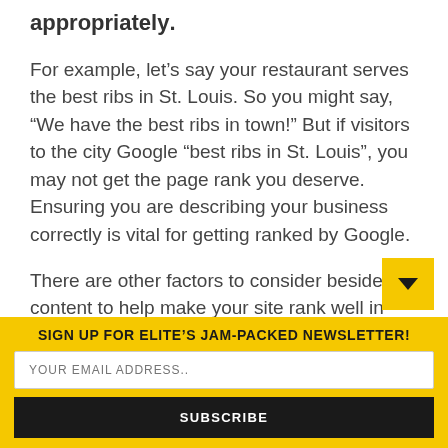appropriately.
For example, let's say your restaurant serves the best ribs in St. Louis. So you might say, “We have the best ribs in town!” But if visitors to the city Google “best ribs in St. Louis”, you may not get the page rank you deserve. Ensuring you are describing your business correctly is vital for getting ranked by Google.
There are other factors to consider besides content to help make your site rank well in search results. Professional input is vital for this.
4. Your Website is Too Slow
SIGN UP FOR ELITE’S JAM-PACKED NEWSLETTER!
YOUR EMAIL ADDRESS..
SUBSCRIBE